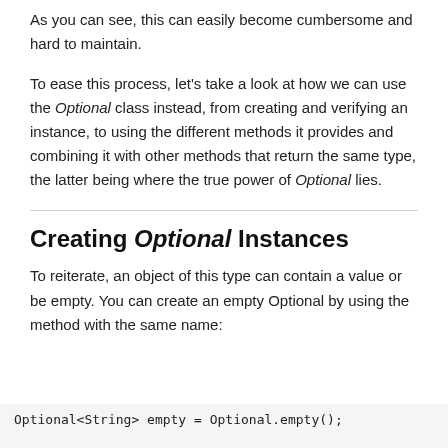As you can see, this can easily become cumbersome and hard to maintain.
To ease this process, let's take a look at how we can use the Optional class instead, from creating and verifying an instance, to using the different methods it provides and combining it with other methods that return the same type, the latter being where the true power of Optional lies.
Creating Optional Instances
To reiterate, an object of this type can contain a value or be empty. You can create an empty Optional by using the method with the same name:
Optional<String> empty = Optional.empty();